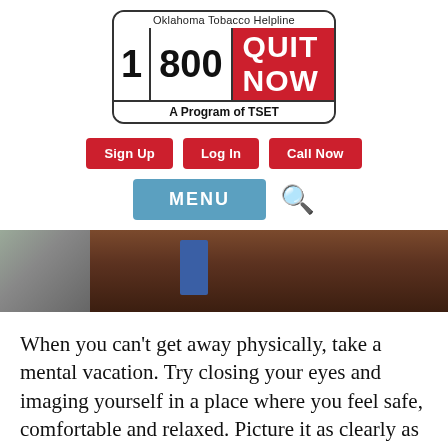[Figure (logo): Oklahoma Tobacco Helpline logo with 1-800-QUIT-NOW and 'A Program of TSET']
Sign Up
Log In
Call Now
MENU
[Figure (photo): Close-up photo strip of a brown leather couch with a person in a blue shirt visible on the left]
When you can't get away physically, take a mental vacation. Try closing your eyes and imaging yourself in a place where you feel safe, comfortable and relaxed. Picture it as clearly as you can. Stay there as long as